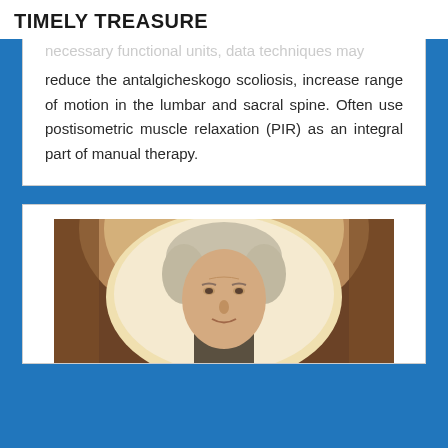TIMELY TREASURE
necessary functional units, data techniques may reduce the antalgicheskogo scoliosis, increase range of motion in the lumbar and sacral spine. Often use postisometric muscle relaxation (PIR) as an integral part of manual therapy.
[Figure (photo): Portrait painting of a historical figure with white/grey hair, set within an arched frame with stone-like surround in brown and cream tones. The figure is shown from the shoulders up.]